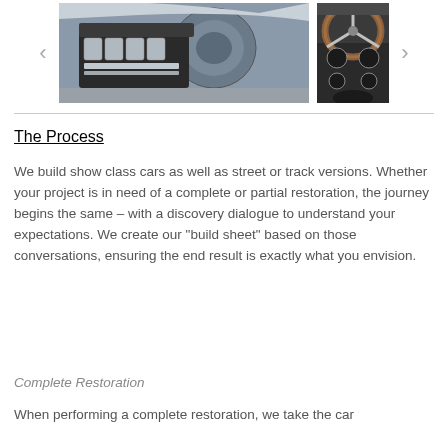[Figure (photo): Two photos of a classic car: left shows a detailed engine bay view with chrome components, right shows an interior dashboard/steering wheel view with wood trim]
The Process
We build show class cars as well as street or track versions. Whether your project is in need of a complete or partial restoration, the journey begins the same – with a discovery dialogue to understand your expectations. We create our "build sheet" based on those conversations, ensuring the end result is exactly what you envision.
Complete Restoration
When performing a complete restoration, we take the car